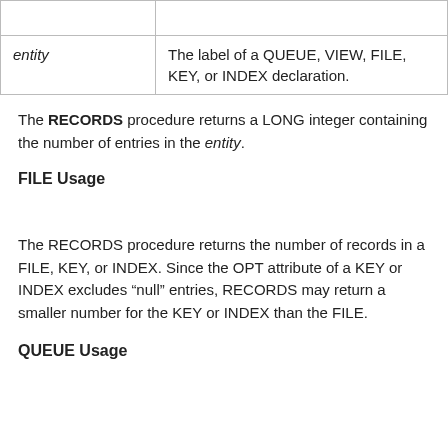|  |  |
| --- | --- |
| entity | The label of a QUEUE, VIEW, FILE, KEY, or INDEX declaration. |
The RECORDS procedure returns a LONG integer containing the number of entries in the entity.
FILE Usage
The RECORDS procedure returns the number of records in a FILE, KEY, or INDEX. Since the OPT attribute of a KEY or INDEX excludes “null” entries, RECORDS may return a smaller number for the KEY or INDEX than the FILE.
QUEUE Usage